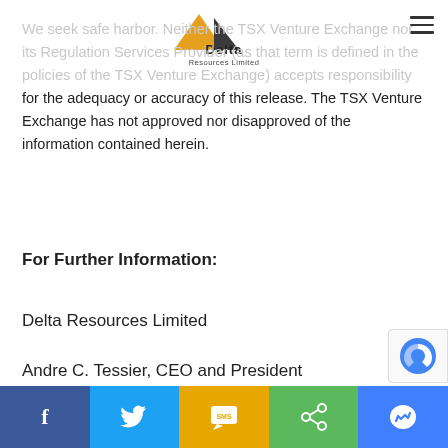Delta Resources Limited [logo]
We seek safe harbor. Neither the TSX Venture Exchange nor its Regulation Services Provider (as that term is defined in the policies of the TSX Venture Exchange) accepts responsibility for the adequacy or accuracy of this release. The TSX Venture Exchange has not approved nor disapproved of the information contained herein.
For Further Information:
Delta Resources Limited
Andre C. Tessier, CEO and President
Tel: 613-328-1581
Social share bar: Facebook, Twitter, SMS, Share, Messenger